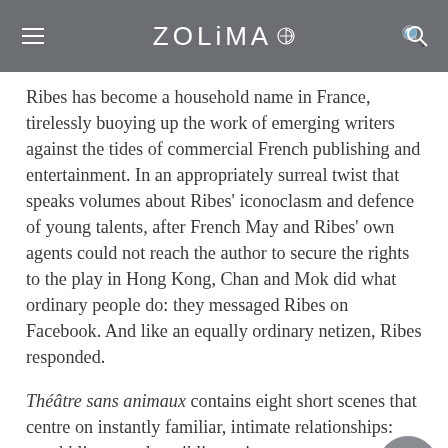ZOLIMA
Ribes has become a household name in France, tirelessly buoying up the work of emerging writers against the tides of commercial French publishing and entertainment. In an appropriately surreal twist that speaks volumes about Ribes' iconoclasm and defence of young talents, after French May and Ribes' own agents could not reach the author to secure the rights to the play in Hong Kong, Chan and Mok did what ordinary people do: they messaged Ribes on Facebook. And like an equally ordinary netizen, Ribes responded.
Théâtre sans animaux contains eight short scenes that centre on instantly familiar, intimate relationships: squabbling couples, siblings given